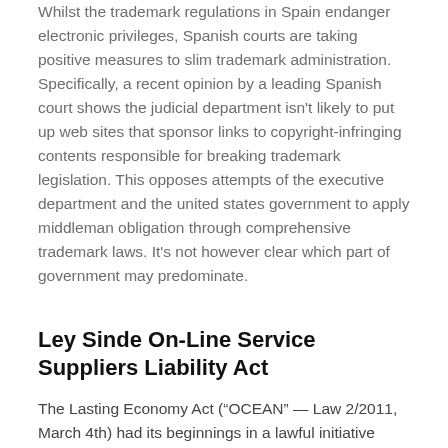Whilst the trademark regulations in Spain endanger electronic privileges, Spanish courts are taking positive measures to slim trademark administration. Specifically, a recent opinion by a leading Spanish court shows the judicial department isn't likely to put up web sites that sponsor links to copyright-infringing contents responsible for breaking trademark legislation. This opposes attempts of the executive department and the united states government to apply middleman obligation through comprehensive trademark laws. It's not however clear which part of government may predominate.
Ley Sinde On-Line Service Suppliers Liability Act
The Lasting Economy Act (“OCEAN” — Law 2/2011, March 4th) had its beginnings in a lawful initiative accepted by the Spanish Cupboard on Nov 27, 2009. Its primary aim was to